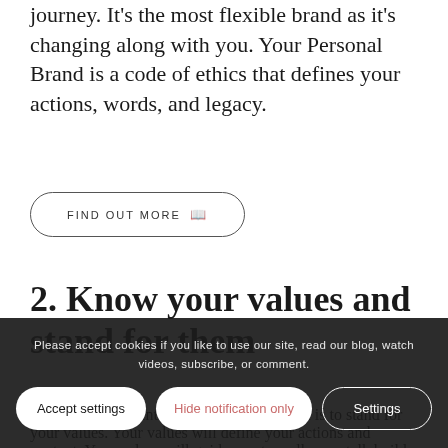journey. It's the most flexible brand as it's changing along with you. Your Personal Brand is a code of ethics that defines your actions, words, and legacy.
FIND OUT MORE 📖
2. Know your values and stand for them
The critical element of your Personal Brand is to stand for your values. Your values will define your actions and content. Your values will guide you to walk your talk build boundaries and a work ethic which
Please accept cookies if you like to use our site, read our blog, watch videos, subscribe, or comment.
Accept settings | Hide notification only | Settings